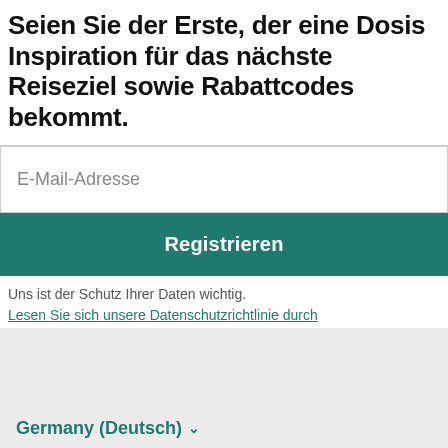Seien Sie der Erste, der eine Dosis Inspiration für das nächste Reiseziel sowie Rabattcodes bekommt.
E-Mail-Adresse
Registrieren
Uns ist der Schutz Ihrer Daten wichtig.
Lesen Sie sich unsere Datenschutzrichtlinie durch
Germany (Deutsch) ∨
EUR ∨